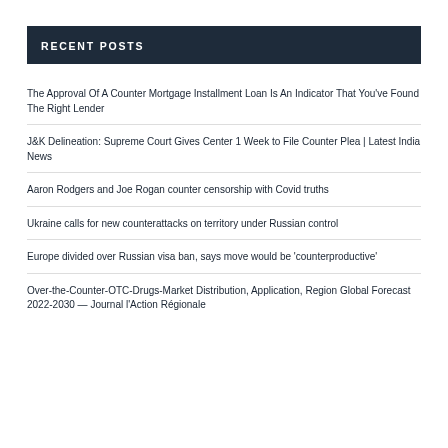RECENT POSTS
The Approval Of A Counter Mortgage Installment Loan Is An Indicator That You've Found The Right Lender
J&K Delineation: Supreme Court Gives Center 1 Week to File Counter Plea | Latest India News
Aaron Rodgers and Joe Rogan counter censorship with Covid truths
Ukraine calls for new counterattacks on territory under Russian control
Europe divided over Russian visa ban, says move would be 'counterproductive'
Over-the-Counter-OTC-Drugs-Market Distribution, Application, Region Global Forecast 2022-2030 — Journal l'Action Régionale